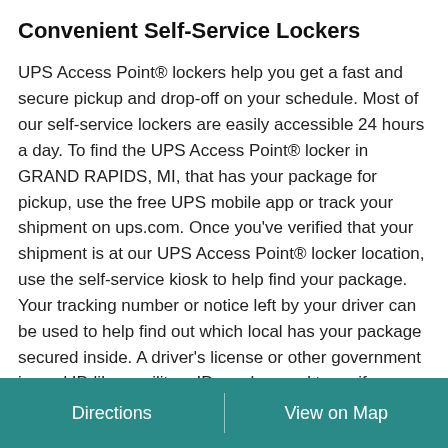Convenient Self-Service Lockers
UPS Access Point® lockers help you get a fast and secure pickup and drop-off on your schedule. Most of our self-service lockers are easily accessible 24 hours a day. To find the UPS Access Point® locker in GRAND RAPIDS, MI, that has your package for pickup, use the free UPS mobile app or track your shipment on ups.com. Once you've verified that your shipment is at our UPS Access Point® locker location, use the self-service kiosk to help find your package. Your tracking number or notice left by your driver can be used to help find out which local has your package secured inside. A driver's license or other government issued ID like a military ID can be used to verify your identity and authorize your package for pickup. Once verified, your locker door will open automatically. Do you need to send out a package? UPS
Directions | View on Map